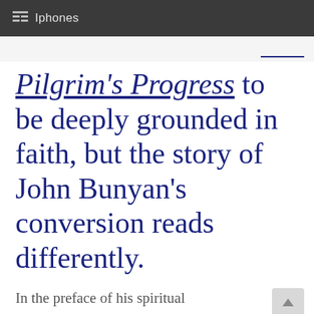Iphones
Pilgrim's Progress to be deeply grounded in faith, but the story of John Bunyan's conversion reads differently.
In the preface of his spiritual